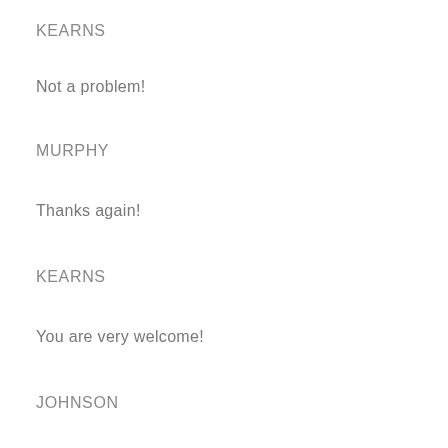KEARNS
Not a problem!
MURPHY
Thanks again!
KEARNS
You are very welcome!
JOHNSON